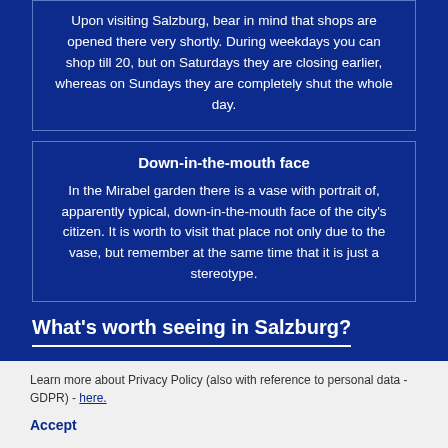Upon visiting Salzburg, bear in mind that shops are opened there very shortly. During weekdays you can shop till 20, but on Saturdays they are closing earlier, whereas on Sundays they are completely shut the whole day.
Down-in-the-mouth face
In the Mirabel garden there is a vase with portrait of, apparently typical, down-in-the-mouth face of the city's citizen. It is worth to visit that place not only due to the vase, but remember at the same time that it is just a stereotype.
What's worth seeing in Salzburg?
Learn more about Privacy Policy (also with reference to personal data - GDPR) - here.
Accept